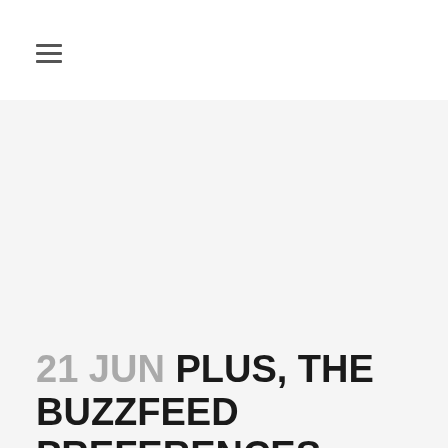☰
21 JUN PLUS, THE BUZZFEED PREFERENCES QUIZ OFFERS INDIVIDUALS THE ABILITY TO DISCUSS THE